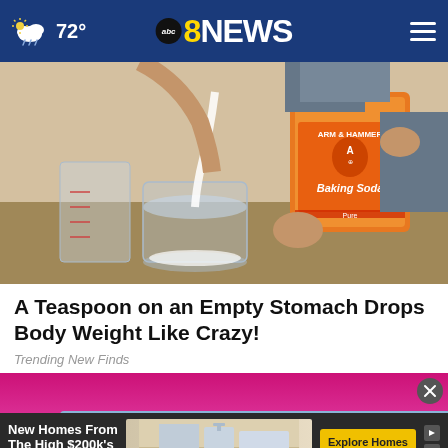abc8NEWS | 72°
[Figure (photo): Person pouring baking soda (Arm & Hammer brand) from a box into a glass measuring jar]
A Teaspoon on an Empty Stomach Drops Body Weight Like Crazy!
Trending New Finds
[Figure (photo): Advertisement showing New Homes From The High $200k's in Northwest Indiana with Explore Homes button, overlaid on a background photo of a person in pink clothing]